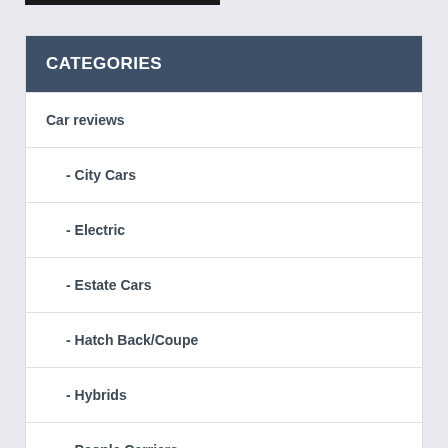CATEGORIES
Car reviews
- City Cars
- Electric
- Estate Cars
- Hatch Back/Coupe
- Hybrids
- People Carriers